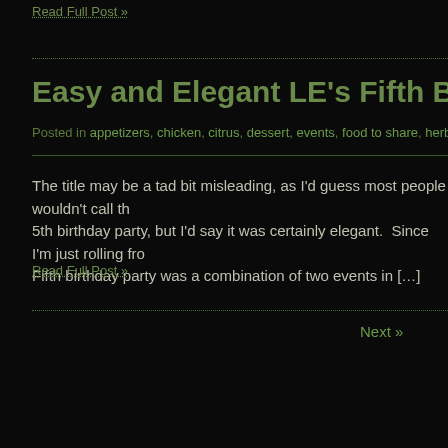Read Full Post »
Easy and Elegant LE's Fifth Birthday D
Posted in appetizers, chicken, citrus, dessert, events, food to share, herbs, sauce, side
The title may be a tad bit misleading, as I'd guess most people wouldn't call th 5th birthday party, but I'd say it was certainly elegant. Since I'm just rolling fro Fifth birthday party was a combination of two events in […]
Read Full Post »
Next »